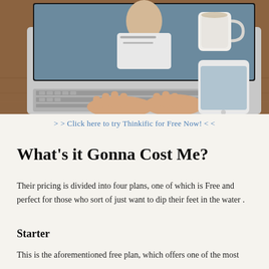[Figure (photo): Overhead view of a person typing on a laptop computer at a wooden desk, with a white mug and smartphone visible nearby]
> > Click here to try Thinkific for Free Now! < <
What's it Gonna Cost Me?
Their pricing is divided into four plans, one of which is Free and perfect for those who sort of just want to dip their feet in the water .
Starter
This is the aforementioned free plan, which offers one of the most